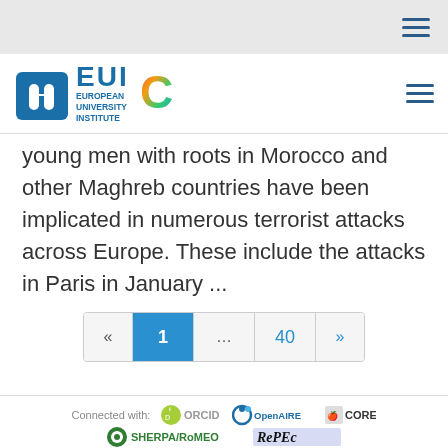[Figure (logo): EUI European University Institute logo with circular C logo]
young men with roots in Morocco and other Maghreb countries have been implicated in numerous terrorist attacks across Europe. These include the attacks in Paris in January ...
[Figure (infographic): Pagination control showing: « 1 ... 40 »]
[Figure (logo): Connected with: ORCID, OpenAIRE, CORE, SHERPA/ROMEO, RePEc, WorldCat, Google Scholar logos]